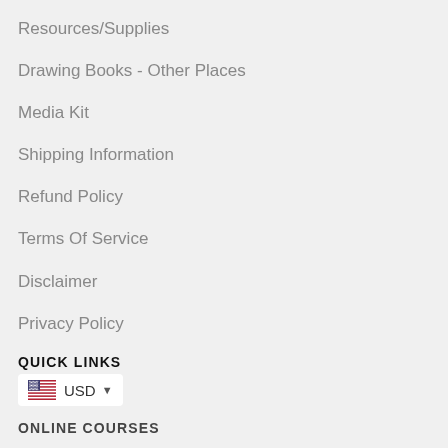Resources/Supplies
Drawing Books - Other Places
Media Kit
Shipping Information
Refund Policy
Terms Of Service
Disclaimer
Privacy Policy
QUICK LINKS
USD
ONLINE COURSES